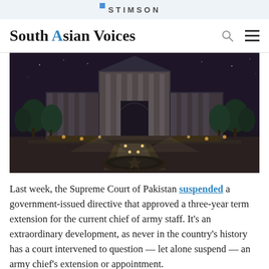STIMSON
South Asian Voices
[Figure (photo): Night photograph of the Supreme Court of Pakistan building, illuminated with lights, featuring a grand white marble structure with trees and a star-shaped fountain in the foreground]
Last week, the Supreme Court of Pakistan suspended a government-issued directive that approved a three-year term extension for the current chief of army staff. It's an extraordinary development, as never in the country's history has a court intervened to question — let alone suspend — an army chief's extension or appointment.